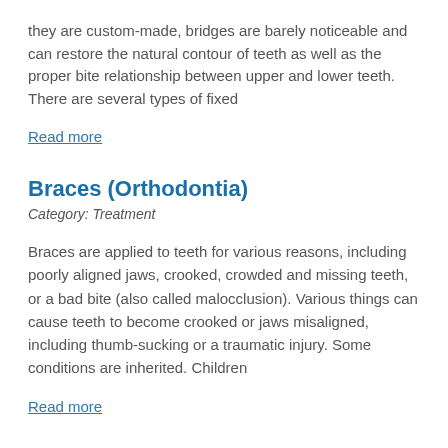they are custom-made, bridges are barely noticeable and can restore the natural contour of teeth as well as the proper bite relationship between upper and lower teeth. There are several types of fixed
Read more
Braces (Orthodontia)
Category: Treatment
Braces are applied to teeth for various reasons, including poorly aligned jaws, crooked, crowded and missing teeth, or a bad bite (also called malocclusion). Various things can cause teeth to become crooked or jaws misaligned, including thumb-sucking or a traumatic injury. Some conditions are inherited. Children
Read more